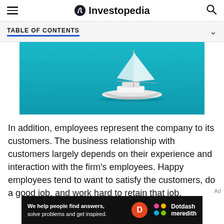Investopedia
TABLE OF CONTENTS
[Figure (photo): Aerial view of a white sailboat on turquoise blue water]
In addition, employees represent the company to its customers. The business relationship with customers largely depends on their experience and interaction with the firm's employees. Happy employees tend to want to satisfy the customers, do a good job, and work hard to retain that job.
[Figure (logo): Dotdash Meredith advertisement banner with text: We help people find answers, solve problems and get inspired.]